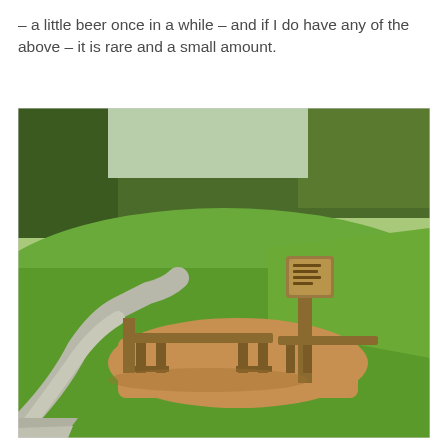– a little beer once in a while – and if I do have any of the above – it is rare and a small amount.
[Figure (photo): Outdoor park scene showing wooden benches and a signpost/kiosk on a mulch pad surrounded by green grass, with a winding paved path and trees in the background on a sunny day.]